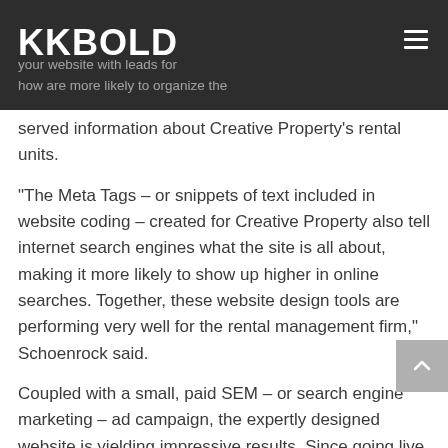KKBOLD
served information about Creative Property's rental units.
“The Meta Tags – or snippets of text included in website coding – created for Creative Property also tell internet search engines what the site is all about, making it more likely to show up higher in online searches. Together, these website design tools are performing very well for the rental management firm,” Schoenrock said.
Coupled with a small, paid SEM – or search engine marketing – ad campaign, the expertly designed website is yielding impressive results. Since going live in June, creativeminot.com has risen significantly in Google search ranking.
For Creative Property, the new website is a significant step toward leveling the playing field when it comes to